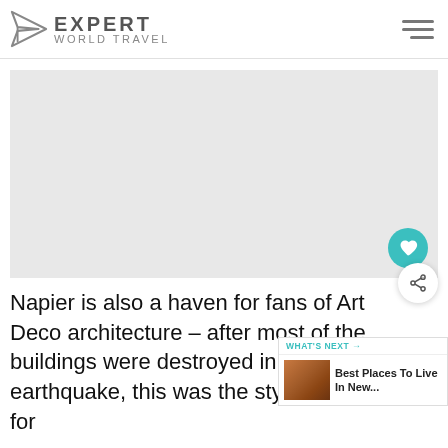EXPERT WORLD TRAVEL
[Figure (photo): Gray placeholder image area for an article photo]
Napier is also a haven for fans of Art Deco architecture – after most of the buildings were destroyed in a 193 earthquake, this was the style chosen for the reconstruction...